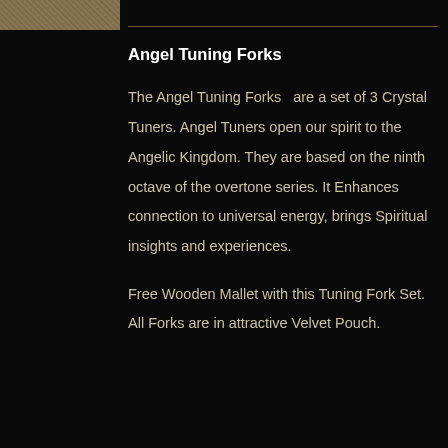[Figure (photo): Partial image of textured sandy/beige material in the top left corner]
Angel Tuning Forks
The Angel Tuning Forks  are a set of 3 Crystal Tuners. Angel Tuners open our spirit to the Angelic Kingdom. They are based on the ninth octave of the overtone series. It Enhances connection to universal energy, brings Spiritual insights and experiences.
Free Wooden Mallet with this Tuning Fork Set. All Forks are in attractive Velvet Pouch.